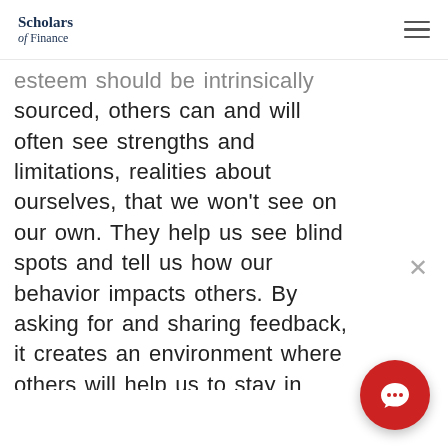Scholars of Finance
esteem should be intrinsically sourced, others can and will often see strengths and limitations, realities about ourselves, that we won't see on our own. They help us see blind spots and tell us how our behavior impacts others. By asking for and sharing feedback, it creates an environment where others will help us to stay in